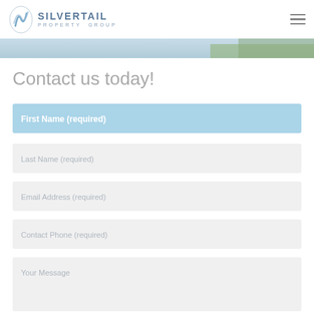SILVERTAIL Property Group
[Figure (photo): Partial hero image strip showing water/landscape with greenery]
Contact us today!
First Name (required)
Last Name (required)
Email Address (required)
Contact Phone (required)
Your Message